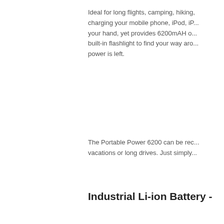Ideal for long flights, camping, hiking, charging your mobile phone, iPod, iP... your hand, yet provides 6200mAH o... built-in flashlight to find your way aro... power is left.
The Portable Power 6200 can be rec... vacations or long drives. Just simply...
Industrial Li-ion Battery -
Made in Japan by Panasonic, each c... use these industrial batteries in their... is also ideal for portable power packs...
Replacement battery can be bought...
Easy Battery Replacement
The Portable Power 6200 features a... battery can last up to 1000 full recha... cost-effective & environmental friend...